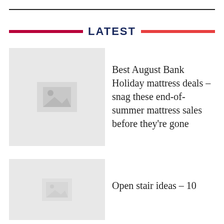LATEST
[Figure (photo): Placeholder image thumbnail for article 1]
Best August Bank Holiday mattress deals – snag these end-of-summer mattress sales before they're gone
[Figure (photo): Placeholder image thumbnail for article 2]
Open stair ideas – 10